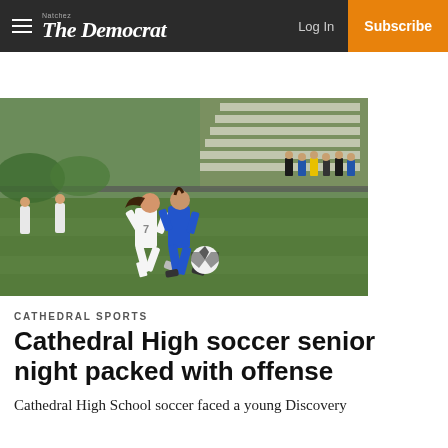The Democrat — Log In | Subscribe
[Figure (photo): Two female soccer players on a green field, one wearing white jersey number 7 and one wearing blue, with spectators and bleachers in the background]
CATHEDRAL SPORTS
Cathedral High soccer senior night packed with offense
Cathedral High School soccer faced a young Discovery